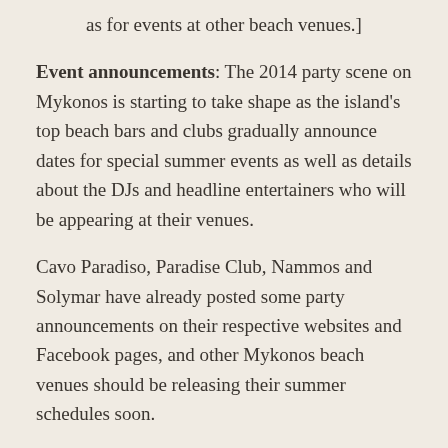as for events at other beach venues.]
Event announcements: The 2014 party scene on Mykonos is starting to take shape as the island's top beach bars and clubs gradually announce dates for special summer events as well as details about the DJs and headline entertainers who will be appearing at their venues.
Cavo Paradiso, Paradise Club, Nammos and Solymar have already posted some party announcements on their respective websites and Facebook pages, and other Mykonos beach venues should be releasing their summer schedules soon.
Please click on the number 2 on the link below to read a roundup of events and DJs confirmed so far.